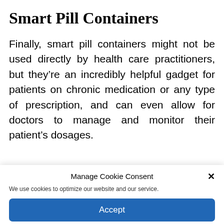Smart Pill Containers
Finally, smart pill containers might not be used directly by health care practitioners, but they’re an incredibly helpful gadget for patients on chronic medication or any type of prescription, and can even allow for doctors to manage and monitor their patient’s dosages.
Manage Cookie Consent
We use cookies to optimize our website and our service.
Accept